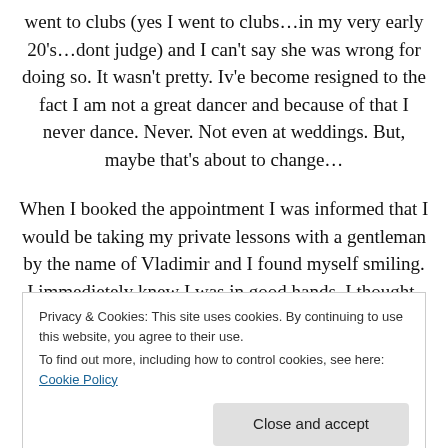went to clubs (yes I went to clubs…in my very early 20's…dont judge) and I can't say she was wrong for doing so. It wasn't pretty. Iv'e become resigned to the fact I am not a great dancer and because of that I never dance. Never. Not even at weddings. But, maybe that's about to change…
When I booked the appointment I was informed that I would be taking my private lessons with a gentleman by the name of Vladimir and I found myself smiling. I immedietely knew I was in good hands. I thought- now
Privacy & Cookies: This site uses cookies. By continuing to use this website, you agree to their use.
To find out more, including how to control cookies, see here: Cookie Policy